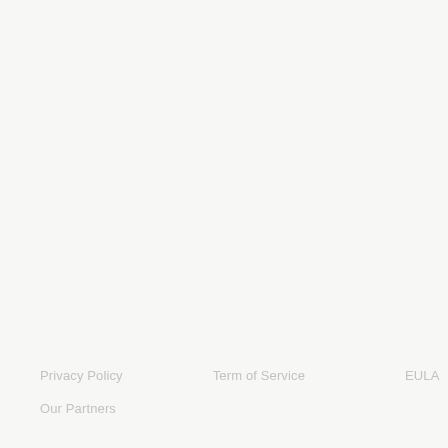Privacy Policy    Term of Service    EULA
Our Partners